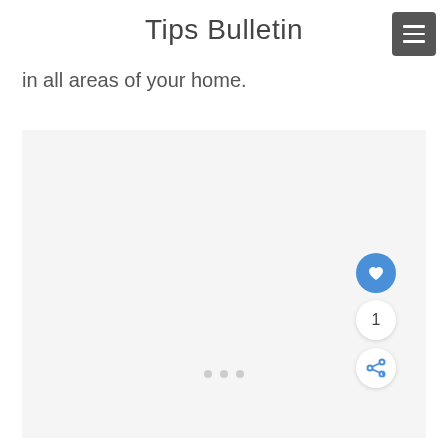Tips Bulletin
in all areas of your home.
[Figure (photo): Large light gray placeholder image area with three small gray dots near the bottom center, with social interaction buttons (heart, count, share) on the right side]